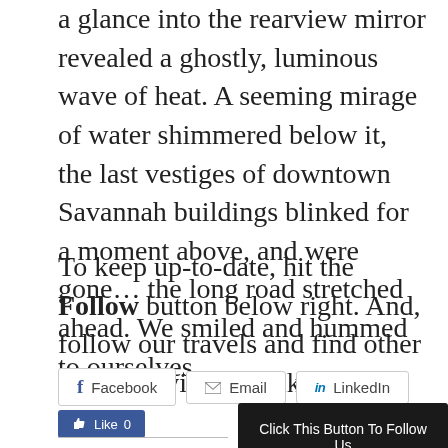a glance into the rearview mirror revealed a ghostly, luminous wave of heat. A seeming mirage of water shimmered below it, the last vestiges of downtown Savannah buildings blinked for a moment above, and were gone… the long road stretched ahead. We smiled and hummed to ourselves.
To keep up-to-date, hit the Follow button below right. And, follow our travels and find other fun sites with the links on the left.
[Figure (infographic): Social sharing buttons row: Facebook, Email, LinkedIn buttons with icons]
[Figure (infographic): Facebook Like button showing count 0, and a dark 'Click This Button To Follow Us' button on the right]